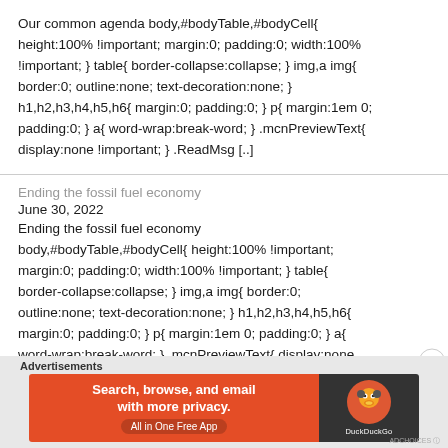Our common agenda body,#bodyTable,#bodyCell{ height:100% !important; margin:0; padding:0; width:100% !important; } table{ border-collapse:collapse; } img,a img{ border:0; outline:none; text-decoration:none; } h1,h2,h3,h4,h5,h6{ margin:0; padding:0; } p{ margin:1em 0; padding:0; } a{ word-wrap:break-word; } .mcnPreviewText{ display:none !important; } .ReadMsg [..]
Ending the fossil fuel economy
June 30, 2022
Ending the fossil fuel economy body,#bodyTable,#bodyCell{ height:100% !important; margin:0; padding:0; width:100% !important; } table{ border-collapse:collapse; } img,a img{ border:0; outline:none; text-decoration:none; } h1,h2,h3,h4,h5,h6{ margin:0; padding:0; } p{ margin:1em 0; padding:0; } a{ word-wrap:break-word; } .mcnPreviewText{ display:none
Advertisements
[Figure (screenshot): DuckDuckGo advertisement banner: orange left panel reading 'Search, browse, and email with more privacy. All in One Free App', dark right panel with DuckDuckGo logo duck icon and brand name.]